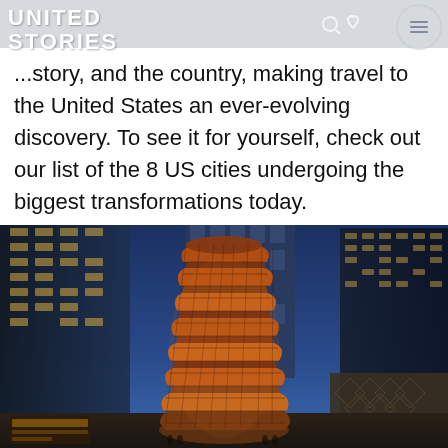UNITED STORIES
...story, and the country, making travel to the United States an ever-evolving discovery. To see it for yourself, check out our list of the 8 US cities undergoing the biggest transformations today.
[Figure (photo): The Vessel structure at Hudson Yards, New York City at dusk, surrounded by skyscrapers and blue sky. The copper-colored honeycomb staircase structure is prominently featured.]